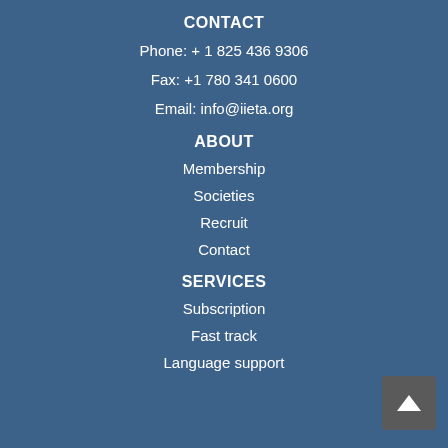CONTACT
Phone: + 1 825 436 9306
Fax: +1 780 341 0600
Email: info@iieta.org
ABOUT
Membership
Societies
Recruit
Contact
SERVICES
Subscription
Fast track
Language support